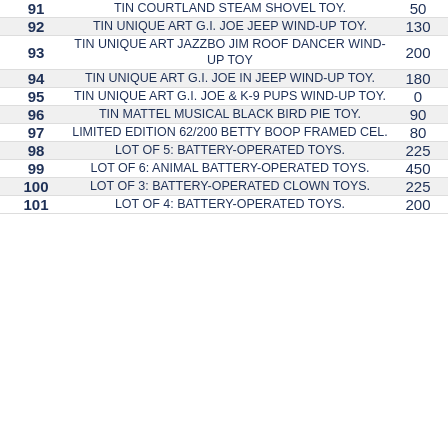| Lot # | Description | Price |
| --- | --- | --- |
| 91 | TIN COURTLAND STEAM SHOVEL TOY. | 50 |
| 92 | TIN UNIQUE ART G.I. JOE JEEP WIND-UP TOY. | 130 |
| 93 | TIN UNIQUE ART JAZZBO JIM ROOF DANCER WIND-UP TOY | 200 |
| 94 | TIN UNIQUE ART G.I. JOE IN JEEP WIND-UP TOY. | 180 |
| 95 | TIN UNIQUE ART G.I. JOE & K-9 PUPS WIND-UP TOY. | 0 |
| 96 | TIN MATTEL MUSICAL BLACK BIRD PIE TOY. | 90 |
| 97 | LIMITED EDITION 62/200 BETTY BOOP FRAMED CEL. | 80 |
| 98 | LOT OF 5: BATTERY-OPERATED TOYS. | 225 |
| 99 | LOT OF 6: ANIMAL BATTERY-OPERATED TOYS. | 450 |
| 100 | LOT OF 3: BATTERY-OPERATED CLOWN TOYS. | 225 |
| 101 | LOT OF 4: BATTERY-OPERATED TOYS. | 200 |